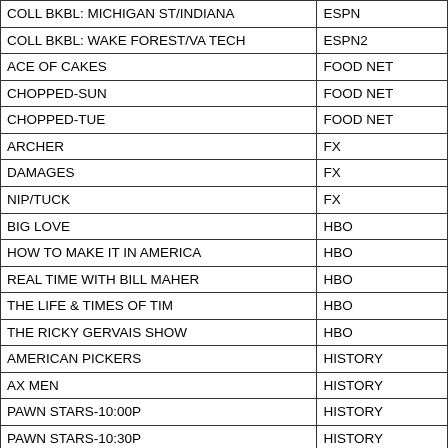| Show | Network |
| --- | --- |
| COLL BKBL: MICHIGAN ST/INDIANA | ESPN |
| COLL BKBL: WAKE FOREST/VA TECH | ESPN2 |
| ACE OF CAKES | FOOD NET |
| CHOPPED-SUN | FOOD NET |
| CHOPPED-TUE | FOOD NET |
| ARCHER | FX |
| DAMAGES | FX |
| NIP/TUCK | FX |
| BIG LOVE | HBO |
| HOW TO MAKE IT IN AMERICA | HBO |
| REAL TIME WITH BILL MAHER | HBO |
| THE LIFE & TIMES OF TIM | HBO |
| THE RICKY GERVAIS SHOW | HBO |
| AMERICAN PICKERS | HISTORY |
| AX MEN | HISTORY |
| PAWN STARS-10:00P | HISTORY |
| PAWN STARS-10:30P | HISTORY |
| PROJECT RUNWAY | LIFETIME |
| SINS OF THE MOTHER | LMN |